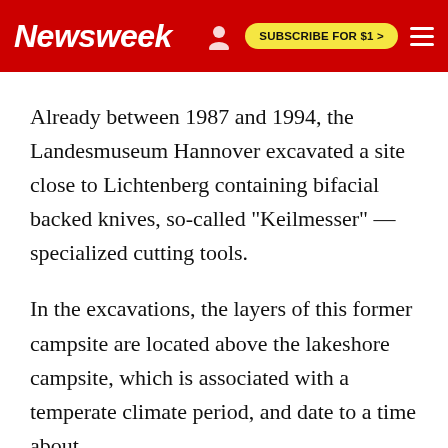Newsweek | SUBSCRIBE FOR $1 >
Already between 1987 and 1994, the Landesmuseum Hannover excavated a site close to Lichtenberg containing bifacial backed knives, so-called "Keilmesser" — specialized cutting tools.
In the excavations, the layers of this former campsite are located above the lakeshore campsite, which is associated with a temperate climate period, and date to a time about